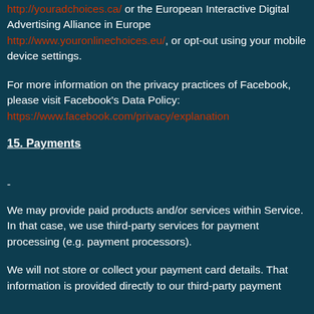http://youradchoices.ca/ or the European Interactive Digital Advertising Alliance in Europe http://www.youronlinechoices.eu/, or opt-out using your mobile device settings.
For more information on the privacy practices of Facebook, please visit Facebook's Data Policy: https://www.facebook.com/privacy/explanation
15. Payments
-
We may provide paid products and/or services within Service. In that case, we use third-party services for payment processing (e.g. payment processors).
We will not store or collect your payment card details. That information is provided directly to our third-party payment